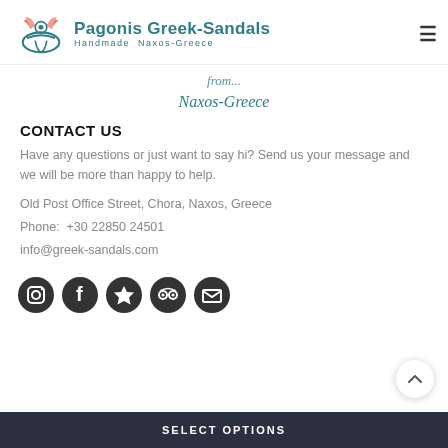[Figure (logo): Pagonis Greek-Sandals logo with sandal icon with wings and teal text 'Pagonis Greek-Sandals' and subtitle 'Handmade Naxos-Greece']
From
Naxos-Greece
CONTACT US
Have any questions or just want to say hi? Send us your message and we will be more than happy to help.
Old Post Office Street, Chora, Naxos, Greece
Phone:  +30 22850 24501
info@greek-sandals.com
[Figure (infographic): Row of 5 social media circular dark icons: Instagram, Facebook, star/favorites, TripAdvisor, Email]
SELECT OPTIONS